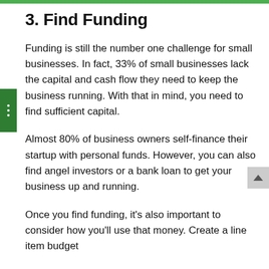3. Find Funding
Funding is still the number one challenge for small businesses. In fact, 33% of small businesses lack the capital and cash flow they need to keep the business running. With that in mind, you need to find sufficient capital.
Almost 80% of business owners self-finance their startup with personal funds. However, you can also find angel investors or a bank loan to get your business up and running.
Once you find funding, it’s also important to consider how you’ll use that money. Create a line item budget